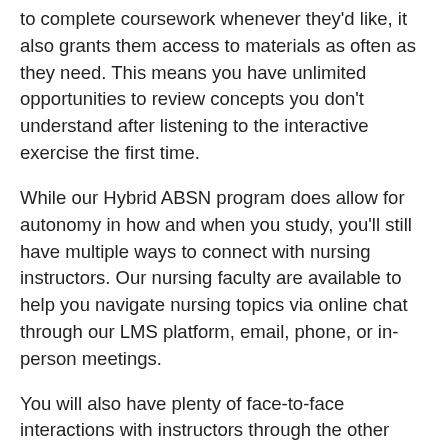to complete coursework whenever they'd like, it also grants them access to materials as often as they need. This means you have unlimited opportunities to review concepts you don't understand after listening to the interactive exercise the first time.
While our Hybrid ABSN program does allow for autonomy in how and when you study, you'll still have multiple ways to connect with nursing instructors. Our nursing faculty are available to help you navigate nursing topics via online chat through our LMS platform, email, phone, or in-person meetings.
You will also have plenty of face-to-face interactions with instructors through the other components of the Notre Dame ABSN. While you'll submit nursing coursework online, you'll sit for proctored exams and attend simulation labs at our ABSN program site. You'll also work alongside experienced clinical instructors during clinical rotations at